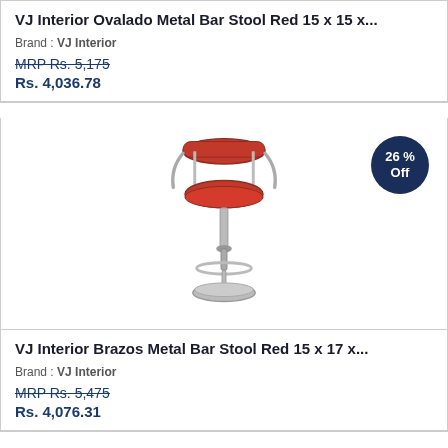VJ Interior Ovalado Metal Bar Stool Red 15 x 15 x...
Brand : VJ Interior
MRP Rs. 5,175
Rs. 4,036.78
[Figure (photo): Red metal bar stool with chrome base and arms, VJ Interior Brazos model]
26 % Off
VJ Interior Brazos Metal Bar Stool Red 15 x 17 x...
Brand : VJ Interior
MRP Rs. 5,475
Rs. 4,076.31